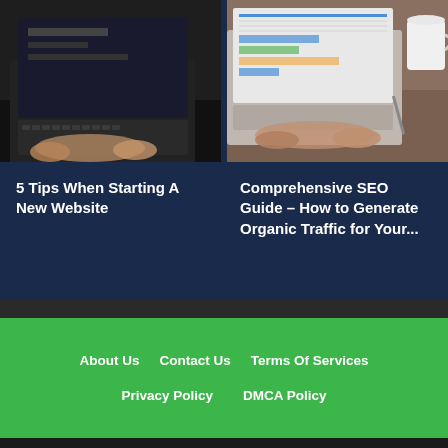[Figure (photo): Hands typing on a laptop keyboard, dark background]
[Figure (photo): Hands typing on a laptop showing charts/spreadsheets, with a coffee mug]
5 Tips When Starting A New Website
Comprehensive SEO Guide – How to Generate Organic Traffic for Your...
About Us  Contact Us  Terms Of Services  Privacy Policy  DMCA Policy
We use cookies to ensure that we give you the best experience on our website. If you continue to use this site we will assume that you are happy with it. More information here.
OK